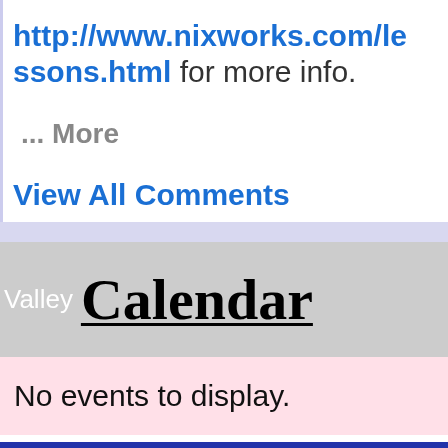http://www.nixworks.com/lessons.html for more info.
... More
View All Comments
Valley Calendar
No events to display.